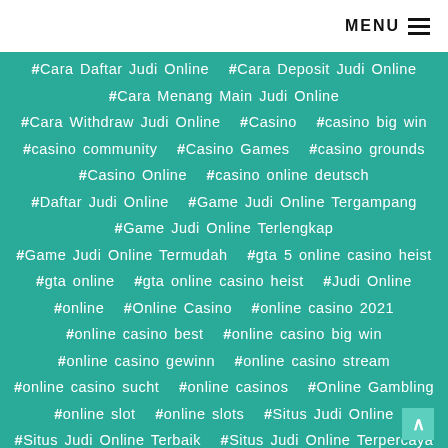MENU
#Cara Daftar Judi Online  #Cara Deposit Judi Online
#Cara Menang Main Judi Online
#Cara Withdraw Judi Online  #Casino  #casino big win
#casino community  #Casino Games  #casino grounds
#Casino Online  #casino online deutsch
#Daftar Judi Online  #Game Judi Online Tergampang
#Game Judi Online Terlengkap
#Game Judi Online Termudah  #gta 5 online casino heist
#gta online  #gta online casino heist  #Judi Online
#online  #Online Casino  #online casino 2021
#online casino best  #online casino big win
#online casino gewinn  #online casino stream
#online casino sucht  #online casinos  #Online Gambling
#online slot  #online slots  #Situs Judi Online
#Situs Judi Online Terbaik  #Situs Judi Online Terpercaya